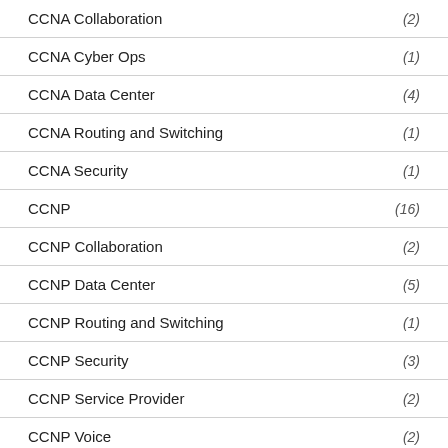CCNA Collaboration (2)
CCNA Cyber Ops (1)
CCNA Data Center (4)
CCNA Routing and Switching (1)
CCNA Security (1)
CCNP (16)
CCNP Collaboration (2)
CCNP Data Center (5)
CCNP Routing and Switching (1)
CCNP Security (3)
CCNP Service Provider (2)
CCNP Voice (2)